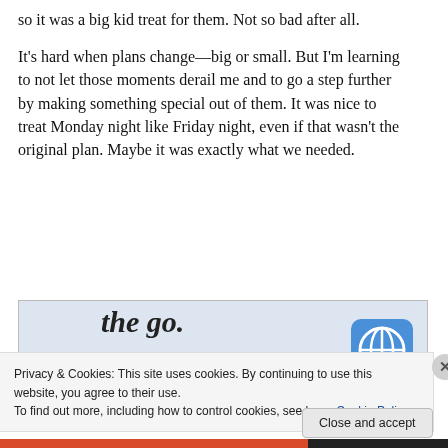so it was a big kid treat for them. Not so bad after all.
It's hard when plans change—big or small. But I'm learning to not let those moments derail me and to go a step further by making something special out of them. It was nice to treat Monday night like Friday night, even if that wasn't the original plan. Maybe it was exactly what we needed.
[Figure (screenshot): Partial WordPress advertisement banner with text 'the go.' in large italic font and 'GET THE APP' in blue uppercase letters, with WordPress logo on the right.]
Privacy & Cookies: This site uses cookies. By continuing to use this website, you agree to their use.
To find out more, including how to control cookies, see here: Cookie Policy
Close and accept